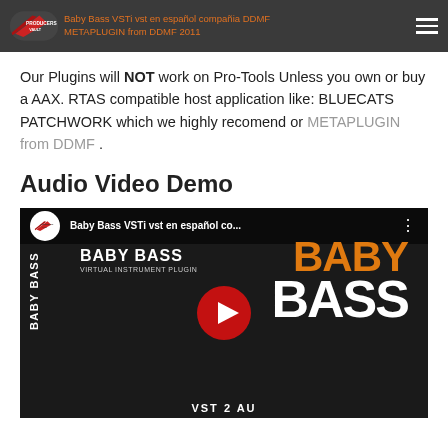Baby Bass VSTi vst en español compañia DDMF METAPLUGIN from DDMF 2011
Our Plugins will NOT work on Pro-Tools Unless you own or buy a AAX. RTAS compatible host application like: BLUECATS PATCHWORK which we highly recomend or METAPLUGIN from DDMF .
Audio Video Demo
[Figure (screenshot): YouTube video thumbnail for 'Baby Bass VSTi vst en español co...' showing Baby Bass product branding with play button overlay]